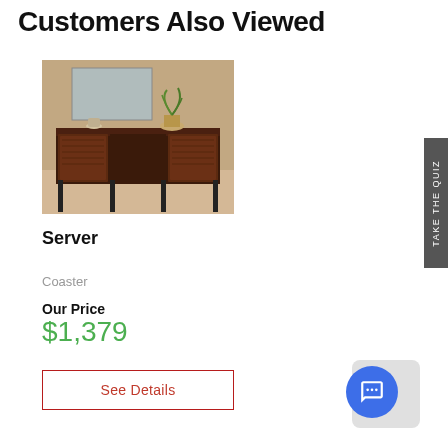Customers Also Viewed
[Figure (photo): A dark wood server/sideboard with metal frame legs, displayed in a room setting with a plant and artwork on top]
Server
Coaster
Our Price
$1,379
See Details